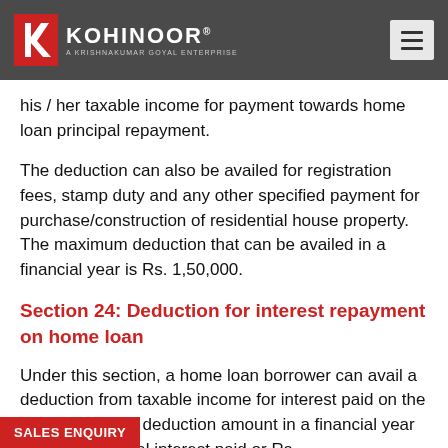KOHINOOR® — A KRISHNAKUMAR GOYAL ENTERPRISE
his / her taxable income for payment towards home loan principal repayment.
The deduction can also be availed for registration fees, stamp duty and any other specified payment for purchase/construction of residential house property. The maximum deduction that can be availed in a financial year is Rs. 1,50,000.
Section 24: Deduction for interest repayment on home loan
Under this section, a home loan borrower can avail a deduction from taxable income for interest paid on the home loan. The deduction amount in a financial year can be the actual interest paid or Rs.
SALES ENQUIRY